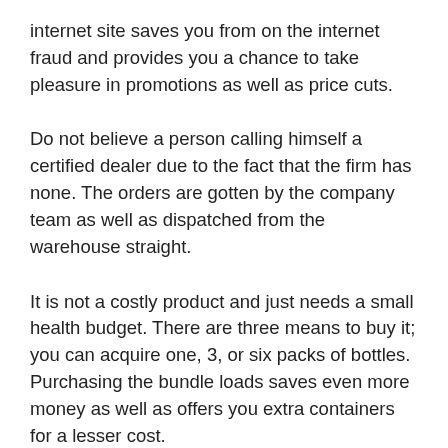internet site saves you from on the internet fraud and provides you a chance to take pleasure in promotions as well as price cuts.
Do not believe a person calling himself a certified dealer due to the fact that the firm has none. The orders are gotten by the company team as well as dispatched from the warehouse straight.
It is not a costly product and just needs a small health budget. There are three means to buy it; you can acquire one, 3, or six packs of bottles. Purchasing the bundle loads saves even more money as well as offers you extra containers for a lesser cost.